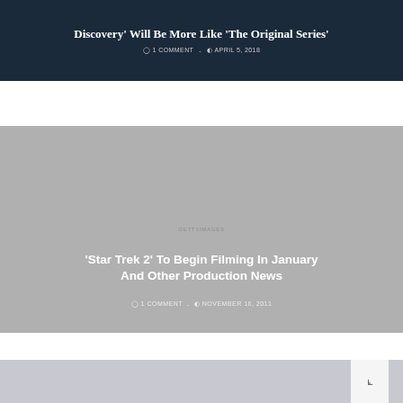[Figure (screenshot): Dark blue/navy background article card showing a Star Trek Discovery article title in white bold text on a dark background with metadata below]
Discovery' Will Be More Like 'The Original Series'
1 COMMENT - APRIL 5, 2018
[Figure (screenshot): Gray background article card showing Star Trek 2 production news article with white title text and faint watermark text in center]
'Star Trek 2' To Begin Filming In January And Other Production News
1 COMMENT - NOVEMBER 16, 2011
[Figure (screenshot): Partial gray image card at bottom of page with white scroll-to-top button with double chevron icon on the right]